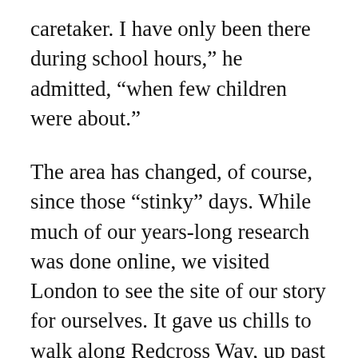caretaker. I have only been there during school hours,” he admitted, “when few children were about.”
The area has changed, of course, since those “stinky” days. While much of our years-long research was done online, we visited London to see the site of our story for ourselves. It gave us chills to walk along Redcross Way, up past Crossbones Cemetery, and over to Borough Market. We ate lunch on the grounds of Southwark Cathedral, where Benjamin and Margaret and others in our line were married, and we studied in the local history library, right